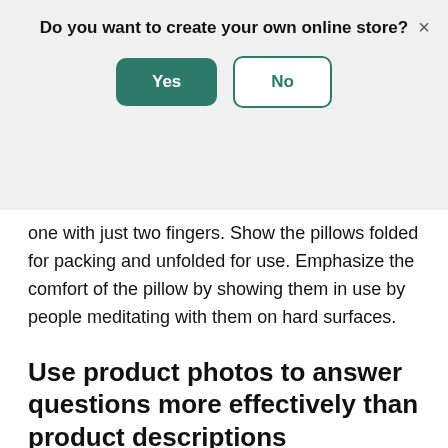Do you want to create your own online store?
[Figure (screenshot): Modal dialog with 'Yes' (green filled button) and 'No' (green outlined button) options, and an X close button in top right corner.]
one with just two fingers. Show the pillows folded for packing and unfolded for use. Emphasize the comfort of the pillow by showing them in use by people meditating with them on hard surfaces.
Use product photos to answer questions more effectively than product descriptions
Show your product in the context of a